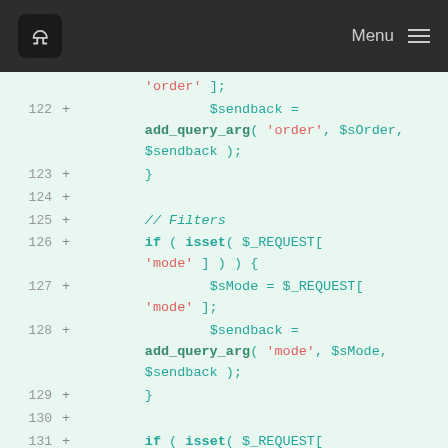J  Menu
[Figure (screenshot): Code diff screenshot showing PHP code lines 122-132 with line numbers, plus signs indicating additions, syntax-highlighted code on a light green background. Code shows $sendback assignment using add_query_arg with 'order' parameter, closing brace, blank line, comment '// Filters', if (isset($_REQUEST['mode'])) block, $sMode and $sendback assignments, closing brace, blank line, another if (isset($_REQUEST['mode'])) block, and $sMode = $_REQUEST['mode'] assignment.]